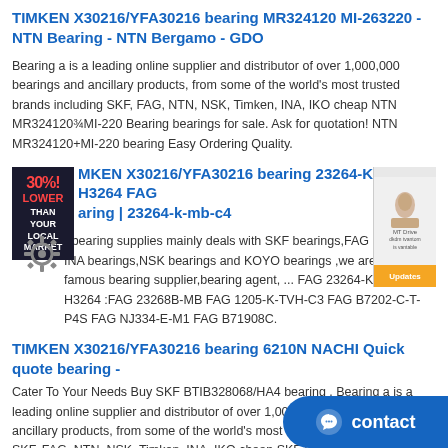TIMKEN X30216/YFA30216 bearing MR324120 MI-263220 - NTN Bearing - NTN Bergamo - GDO
Bearing a is a leading online supplier and distributor of over 1,000,000 bearings and ancillary products, from some of the world's most trusted brands including SKF, FAG, NTN, NSK, Timken, INA, IKO cheap NTN MR324120¾MI-220 Bearing bearings for sale. Ask for quotation! NTN MR324120+MI-220 bearing Easy Ordering Quality.
TIMKEN X30216/YFA30216 bearing 23264-K-MB-H3264 FAG Bearing | 23264-k-mb-c4
r bearing supplies mainly deals with SKF bearings,FAG bearings, INA bearings,NSK bearings and KOYO bearings ,we are as world famous bearing supplier,bearing agent, ... FAG 23264-K-MB + H3264 :FAG 23268B-MB FAG 1205-K-TVH-C3 FAG B7202-C-T-P4S FAG NJ334-E-M1 FAG B71908C.
TIMKEN X30216/YFA30216 bearing 6210N NACHI Quick quote bearing -
Cater To Your Needs Buy SKF BTIB328068/HA4 bearing . Bearing a is a leading online supplier and distributor of over 1,000,000 bearings and ancillary products, from some of the world's most trusted brands including SKF, FAG, NTN, NSK, Timken, INA, IKO cheap SKF 51276 b
TIMKEN X30216/YFA30216 bearing Timken L81... Bearing -